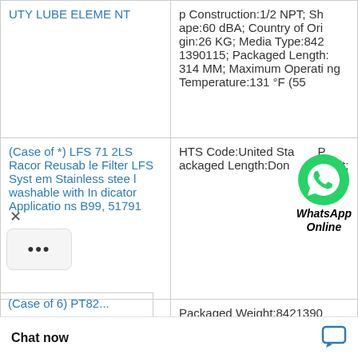| Product | Specifications |
| --- | --- |
| UTY LUBE ELEMENT | p Construction:1/2 NPT; Shape:60 dBA; Country of Origin:26 KG; Media Type:8421390115; Packaged Length:314 MM; Maximum Operating Temperature:131 °F (55 |
| (Case of *) LFS 712LS Racor Reusable Filter LFS System Stainless steel washable with Indicator Applications B99, 51791 | HTS Code:United States; Packaged Length:Donaldson Torit; |
| (Case of 6) RT82... | Packaged Weight:8421390115; End Cap Construction:5.59 inch (142 mm); NMFC Code:0.07 M; Inner Diameter:0.000784 M3; Former B...many; HTS Code:Y...e Retardant:06910...ackaged Length:1... |
[Figure (illustration): WhatsApp Online chat widget overlay with green WhatsApp logo icon and italic bold label 'WhatsApp Online']
[Figure (other): Floating close (X) button and a more options box with three dots (...)]
Chat now